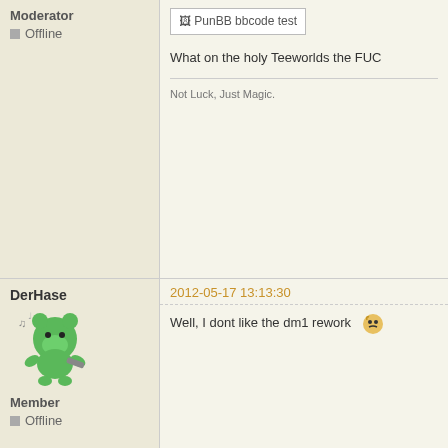Moderator
Offline
[Figure (screenshot): PunBB bbcode test image placeholder]
What on the holy Teeworlds the FUC
Not Luck, Just Magic.
DerHase
2012-05-17 13:13:30
[Figure (illustration): DerHase avatar - green bear character]
Member
Offline
Well, I dont like the dm1 rework
Ich
2012-05-17 14:22:15
[Figure (illustration): Ich avatar - pi symbol on gray background]
Member
Offline
I think good Grafix and Detail is naic disabled.
I play with HD but only because im n need it ;D
But reworks on grafix for maps like c
Nitro
2012-05-17 17:33:14 (edited by 2017